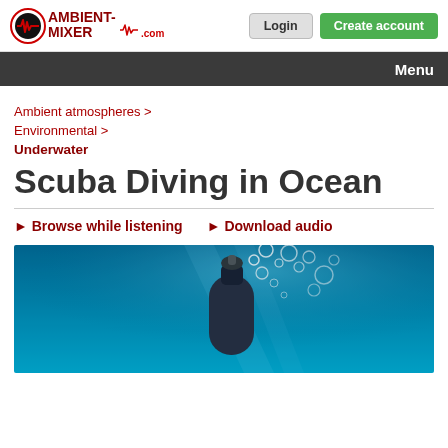AMBIENT-MIXER.com | Login | Create account
Menu
Ambient atmospheres >
Environmental >
Underwater
Scuba Diving in Ocean
Browse while listening
Download audio
[Figure (photo): Underwater scuba diving photo showing bubbles rising from a diver's equipment against a blue ocean background]